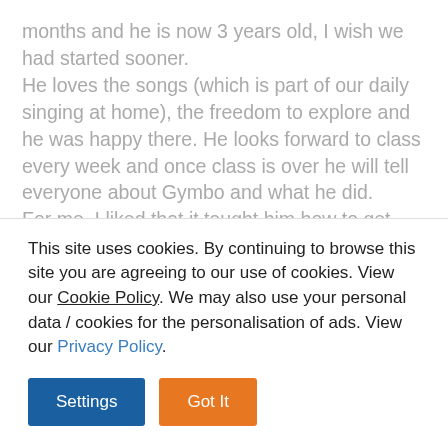months and he is now 3 years old, I wish we had started sooner. He loves the songs (which is part of our daily singing at home), the freedom to explore and he was happy there. He looks forward to class every week and once class is over he will tell everyone about Gymbo and what he did. For me, I liked that it taught him how to get down safely from a height, how to learn to use his body, and touching on different topics every 2 weeks. It gave me confidence in other environments to trust that he has
This site uses cookies. By continuing to browse this site you are agreeing to our use of cookies. View our Cookie Policy. We may also use your personal data / cookies for the personalisation of ads. View our Privacy Policy.